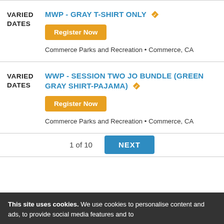VARIED DATES
MWP - GRAY T-SHIRT ONLY
Register Now
Commerce Parks and Recreation • Commerce, CA
VARIED DATES
WWP - SESSION TWO JO BUNDLE (GREEN GRAY SHIRT-PAJAMA)
Register Now
Commerce Parks and Recreation • Commerce, CA
1 of 10
NEXT
This site uses cookies. We use cookies to personalise content and ads, to provide social media features and to